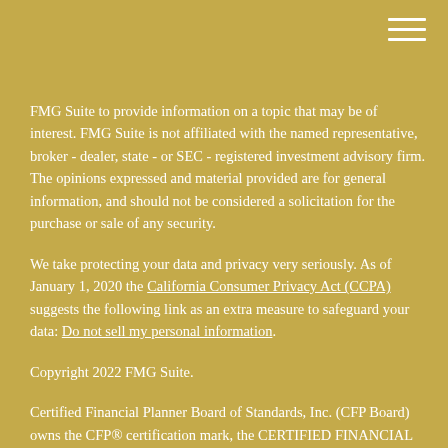[Figure (other): Hamburger menu icon (three horizontal white lines) in top-right corner]
FMG Suite to provide information on a topic that may be of interest. FMG Suite is not affiliated with the named representative, broker - dealer, state - or SEC - registered investment advisory firm. The opinions expressed and material provided are for general information, and should not be considered a solicitation for the purchase or sale of any security.
We take protecting your data and privacy very seriously. As of January 1, 2020 the California Consumer Privacy Act (CCPA) suggests the following link as an extra measure to safeguard your data: Do not sell my personal information.
Copyright 2022 FMG Suite.
Certified Financial Planner Board of Standards, Inc. (CFP Board) owns the CFP® certification mark, the CERTIFIED FINANCIAL PLANNER™ certification mark, and the CFP® certification mark (with plaque design) logo in the United States, which it authorizes use of by individuals who successfully complete CFP Board's initial and ongoing certification requirements.